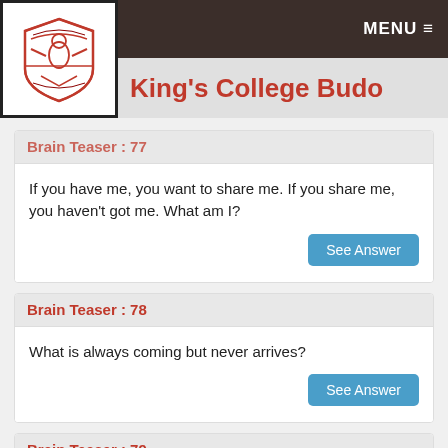MENU ≡
King's College Budo
Brain Teaser : 77
If you have me, you want to share me. If you share me, you haven't got me. What am I?
Brain Teaser : 78
What is always coming but never arrives?
Brain Teaser : 79
A number starting is approximately that 100 and decreasing by...